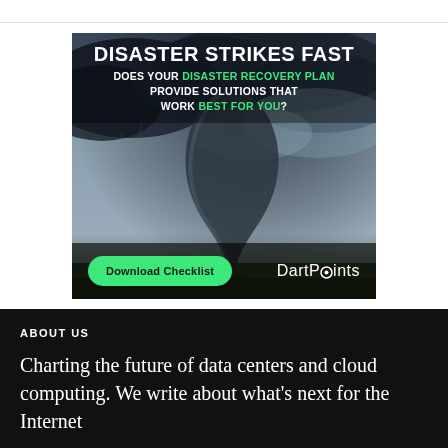[Figure (illustration): Advertisement banner for DartPoints featuring a large tornado photograph with dark stormy sky. White bold headline 'DISASTER STRIKES FAST', subtext 'DOES YOUR DISASTER RECOVERY PLAN PROVIDE SOLUTIONS THAT WORK BEST FOR YOU?' with green highlighted words. Bottom bar contains a green 'Download Checklist' button and the DartPoints logo.]
ABOUT US
Charting the future of data centers and cloud computing. We write about what's next for the Internet